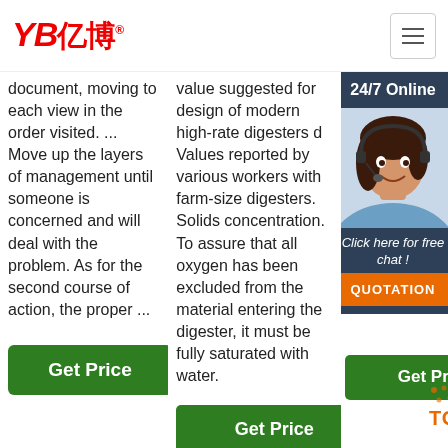YB亿博® [logo] [hamburger menu]
document, moving to each view in the order visited. ... Move up the layers of management until someone is concerned and will deal with the problem. As for the second course of action, the proper ...
value suggested for design of modern high-rate digesters d Values reported by various workers with farm-size digesters. Solids concentration. To assure that all oxygen has been excluded from the material entering the digester, it must be fully saturated with water.
Accidents Page #12... last 05/0... Con kille Bar spe yea has acc the sta is taking ...
[Figure (photo): Customer service representative with headset, smiling, with 24/7 Online chat widget overlay showing 'Click here for free chat!' and QUOTATION button]
Get Price (button, column 1)
Get Price (button, column 2)
Get Price (button, column 3)